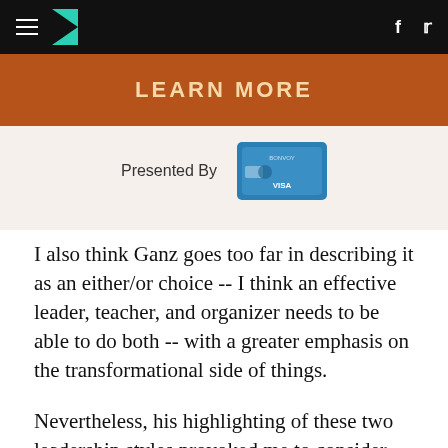HuffPost navigation with hamburger menu, logo, facebook and twitter icons
[Figure (other): Orange LEARN MORE banner button]
Presented By [Visa credit card image]
I also think Ganz goes too far in describing it as an either/or choice -- I think an effective leader, teacher, and organizer needs to be able to do both -- with a greater emphasis on the transformational side of things.
Nevertheless, his highlighting of these two leadership styles provoked me to consider how they might be applied to schools -- in the